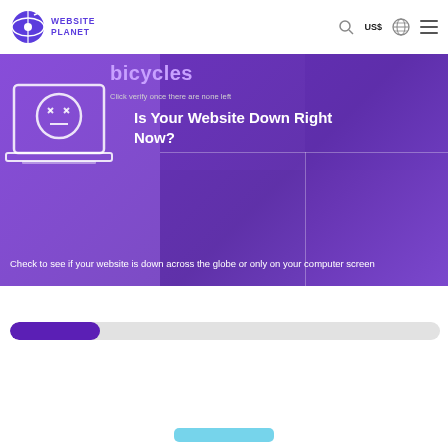Website Planet — US$ — navigation icons
[Figure (screenshot): Website Planet header with logo (globe/satellite icon + WEBSITE PLANET text), search icon, US$ currency selector, globe icon, and hamburger menu on white background]
Is Your Website Down Right Now?
bicycles
Click verify once there are none left
Check to see if your website is down across the globe or only on your computer screen
[Figure (infographic): Purple-tinted hero banner with laptop illustration showing a crashed/error screen face, thumbnail images in the background, overlaid with heading 'Is Your Website Down Right Now?' and descriptive text. A partially visible CAPTCHA with 'bicycles' and 'Click verify once there are none left' is also visible.]
[Figure (infographic): Progress bar showing partial fill (purple) on a grey track, representing page loading or test progress. Below is a partial teal/blue button element at the very bottom.]